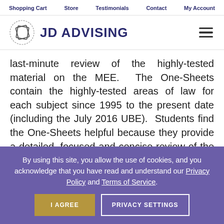Shopping Cart  Store  Testimonials  Contact  My Account
[Figure (logo): JD Advising logo with diamond/book icon and text 'JD ADVISING']
last-minute review of the highly-tested material on the MEE. The One-Sheets contain the highly-tested areas of law for each subject since 1995 to the present date (including the July 2016 UBE). Students find the One-Sheets helpful because they provide a detailed, focused and concise review of the tested subjects. They also
By using this site, you allow the use of cookies, and you acknowledge that you have read and understand our Privacy Policy and Terms of Service.
I AGREE   PRIVACY SETTINGS